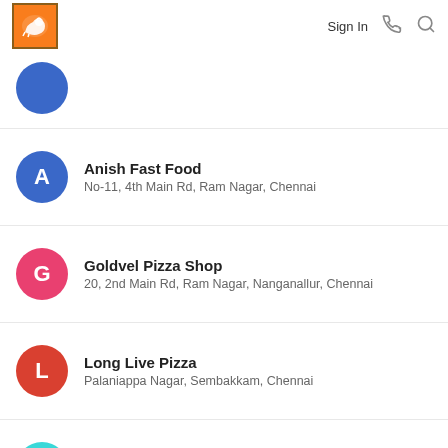Sign In
Anish Fast Food
No-11, 4th Main Rd, Ram Nagar, Chennai
Goldvel Pizza Shop
20, 2nd Main Rd, Ram Nagar, Nanganallur, Chennai
Long Live Pizza
Palaniappa Nagar, Sembakkam, Chennai
New Balaji Bhavan
No. 41, 2nd Main Road, Nanganallur, Chennai
Sri Balaji Bhavan Hotel
Nanganallur Co-op Society Colony, Nanganallur, Chennai